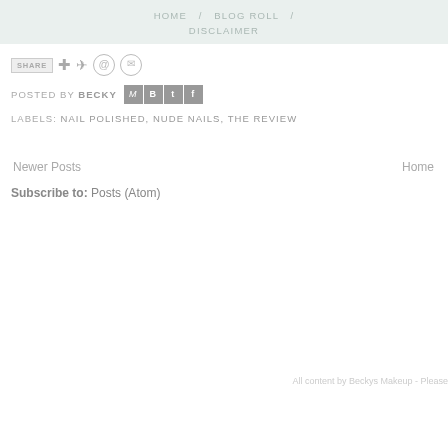HOME / BLOG ROLL / DISCLAIMER
SHARE
POSTED BY BECKY
LABELS: NAIL POLISHED, NUDE NAILS, THE REVIEW
Newer Posts
Home
Subscribe to: Posts (Atom)
All content by Beckys Makeup - Please